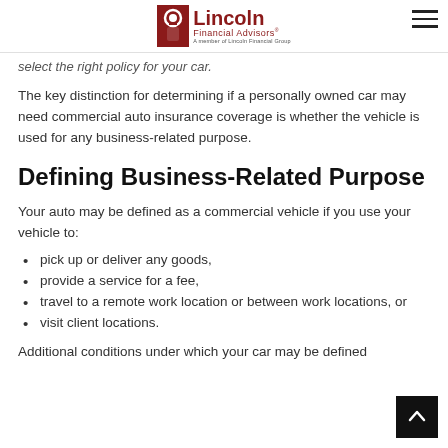Lincoln Financial Advisors — A member of Lincoln Financial Group
select the right policy for your car.
The key distinction for determining if a personally owned car may need commercial auto insurance coverage is whether the vehicle is used for any business-related purpose.
Defining Business-Related Purpose
Your auto may be defined as a commercial vehicle if you use your vehicle to:
pick up or deliver any goods,
provide a service for a fee,
travel to a remote work location or between work locations, or
visit client locations.
Additional conditions under which your car may be defined